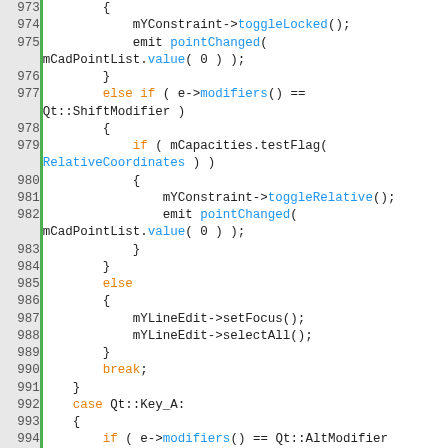[Figure (screenshot): Source code editor screenshot showing C++ code lines 973-999 with syntax highlighting. Line numbers in grey on left, green vertical bar, code on right. Keywords in orange, function/method calls in blue, other code in black.]